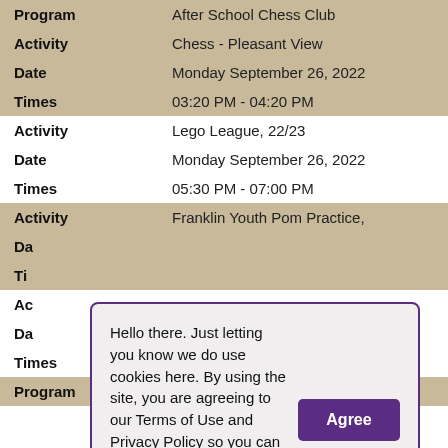| Program | After School Chess Club |
| Activity | Chess - Pleasant View |
| Date | Monday September 26, 2022 |
| Times | 03:20 PM - 04:20 PM |
| Activity | Lego League, 22/23 |
| Date | Monday September 26, 2022 |
| Times | 05:30 PM - 07:00 PM |
| Activity | Franklin Youth Pom Practice, |
| Da |  |
| Ti |  |
| Ac |  |
| Da |  |
| Times | 06:45 AM - 08:30 AM |
| Program | Kids Club Before & After |
Hello there. Just letting you know we do use cookies here. By using the site, you are agreeing to our Terms of Use and Privacy Policy so you can read learn more by clicking on them. That's all - back to the fun!